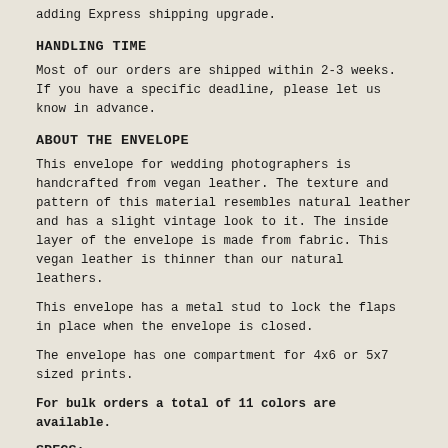adding Express shipping upgrade.
HANDLING TIME
Most of our orders are shipped within 2-3 weeks. If you have a specific deadline, please let us know in advance.
ABOUT THE ENVELOPE
This envelope for wedding photographers is handcrafted from vegan leather. The texture and pattern of this material resembles natural leather and has a slight vintage look to it. The inside layer of the envelope is made from fabric. This vegan leather is thinner than our natural leathers.
This envelope has a metal stud to lock the flaps in place when the envelope is closed.
The envelope has one compartment for 4x6 or 5x7 sized prints.
For bulk orders a total of 11 colors are available.
SPECS: